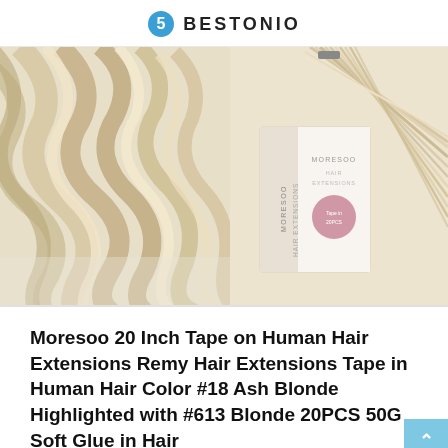BESTONIO
[Figure (photo): Two product photos side by side: left shows wavy blonde highlighted human hair close-up, right shows Moresoo Hair Extensions product box with straight blonde hair strands fanned out]
Moresoo 20 Inch Tape on Human Hair Extensions Remy Hair Extensions Tape in Human Hair Color #18 Ash Blonde Highlighted with #613 Blonde 20PCS 50G Soft Glue in Hair